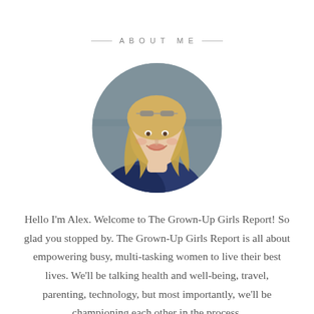ABOUT ME
[Figure (photo): Circular portrait photo of a smiling blonde woman wearing a dark blue top, with sunglasses on her head, outdoors with blurred background.]
Hello I'm Alex. Welcome to The Grown-Up Girls Report! So glad you stopped by. The Grown-Up Girls Report is all about empowering busy, multi-tasking women to live their best lives. We'll be talking health and well-being, travel, parenting, technology, but most importantly, we'll be championing each other in the process.